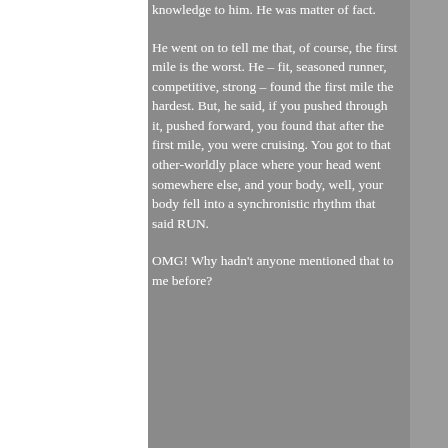knowledge to him. He was matter of fact.
He went on to tell me that, of course, the first mile is the worst. He – fit, seasoned runner, competitive, strong – found the first mile the hardest. But, he said, if you pushed through it, pushed forward, you found that after the first mile, you were cruising. You got to that other-worldly place where your head went somewhere else, and your body, well, your body fell into a synchronistic rhythm that said RUN.
OMG! Why hadn't anyone mentioned that to me before?